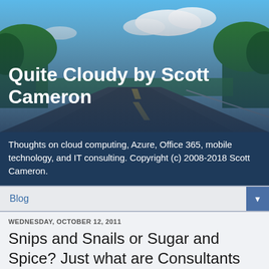[Figure (photo): Blog header image showing a road stretching into the distance under a partly cloudy blue sky with green trees on either side]
Quite Cloudy by Scott Cameron
Thoughts on cloud computing, Azure, Office 365, mobile technology, and IT consulting. Copyright (c) 2008-2018 Scott Cameron.
Blog
WEDNESDAY, OCTOBER 12, 2011
Snips and Snails or Sugar and Spice? Just what are Consultants Made of?
[Figure (photo): Partial photo of a person, cropped at the bottom of the page]